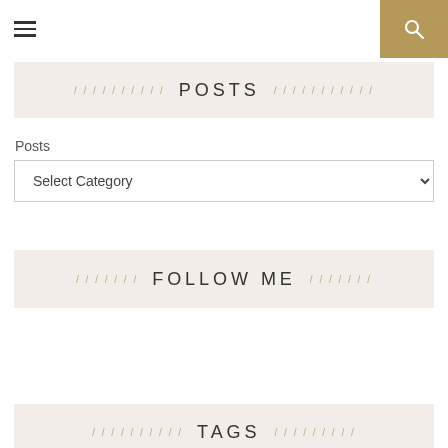≡  [search icon]
POSTS
Posts
Select Category
FOLLOW ME
TAGS